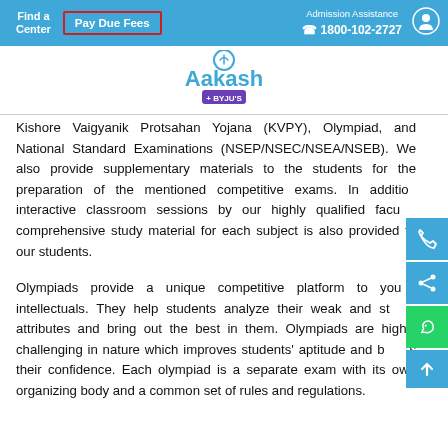Find a Center | Pay Due Fees | Admission Assistance 1800-102-2727
[Figure (logo): Aakash + BYJU'S logo with circular arrow icon above brand name]
Kishore Vaigyanik Protsahan Yojana (KVPY), Olympiad, and National Standard Examinations (NSEP/NSEC/NSEA/NSEB). We also provide supplementary materials to the students for the preparation of the mentioned competitive exams. In addition, interactive classroom sessions by our highly qualified faculty, comprehensive study material for each subject is also provided to our students.
Olympiads provide a unique competitive platform to young intellectuals. They help students analyze their weak and strong attributes and bring out the best in them. Olympiads are highly challenging in nature which improves students' aptitude and boosts their confidence. Each olympiad is a separate exam with its own organizing body and a common set of rules and regulations.